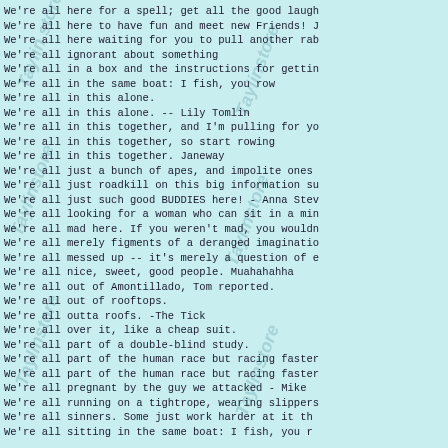We're all here for a spell; get all the good laugh
We're all here to have fun and meet new Friends! J
We're all here waiting for you to pull another rab
We're all ignorant about something
We're all in a box and the instructions for gettin
We're all in the same boat: I fish, you row
We're all in this alone.
We're all in this alone. -- Lily Tomlin
We're all in this together, and I'm pulling for yo
We're all in this together, so start rowing
We're all in this together. Janeway
We're all just a bunch of apes, and impolite ones
We're all just roadkill on this big information su
We're all just such good BUDDIES here! - Anna Stev
We're all looking for a woman who can sit in a min
We're all mad here. If you weren't mad, you wouldn
We're all merely figments of a deranged imaginatio
We're all messed up -- it's merely a question of e
We're all nice, sweet, good people.  Muahahahha
We're all out of Amontillado, Tom reported.
We're all out of rooftops.
We're all outta roofs.  -The Tick
We're all over it, like a cheap suit.
We're all part of a double-blind study.
We're all part of the human race but racing faster
We're all part of the human race but racing faster
We're all pregnant by the guy we attacked - Mike
We're all running on a tightrope, wearing slippers
We're all sinners.  Some just work harder at it th
We're all sitting in the same boat:  I fish, you r